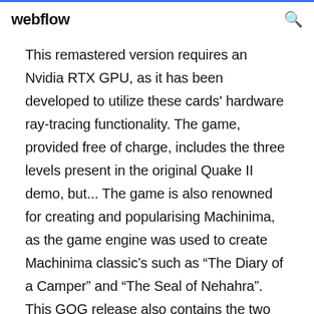webflow
This remastered version requires an Nvidia RTX GPU, as it has been developed to utilize these cards' hardware ray-tracing functionality. The game, provided free of charge, includes the three levels present in the original Quake II demo, but... The game is also renowned for creating and popularising Machinima, as the game engine was used to create Machinima classic's such as “The Diary of a Camper” and “The Seal of Nehahra”. This GOG release also contains the two expansions for... Quake 2: Quad Damage Game – Overview – Free Download – Compressed – Specs – PC – RIP – Screenshots – Torrent/uTorrent Type of game: First...